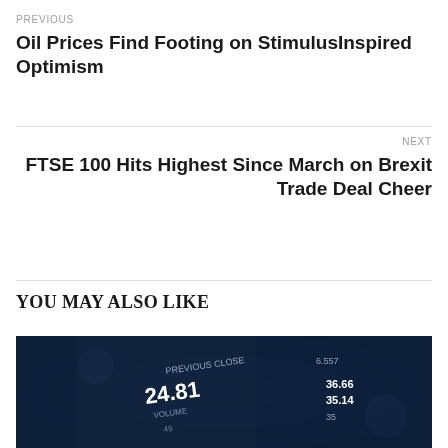PREVIOUS
Oil Prices Find Footing on StimulusInspired Optimism
NEXT
FTSE 100 Hits Highest Since March on Brexit Trade Deal Cheer
YOU MAY ALSO LIKE
[Figure (photo): Close-up photograph of a financial trading screen or smartphone showing stock market data with numbers including 24.81 in blue tones]